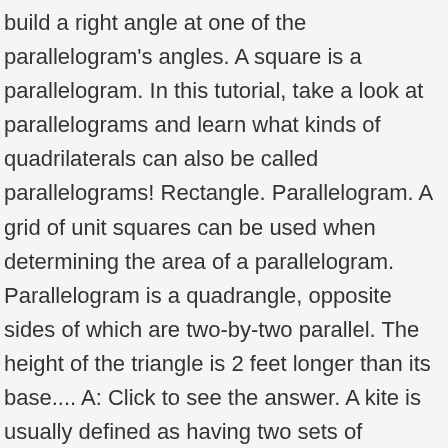build a right angle at one of the parallelogram's angles. A square is a parallelogram. In this tutorial, take a look at parallelograms and learn what kinds of quadrilaterals can also be called parallelograms! Rectangle. Parallelogram. A grid of unit squares can be used when determining the area of a parallelogram. Parallelogram is a quadrangle, opposite sides of which are two-by-two parallel. The height of the triangle is 2 feet longer than its base.... A: Click to see the answer. A kite is usually defined as having two sets of consecutive congruent sides. By extension, you can say that a square is a special case of both a rectangle and a parallelogram: The condition for a parallelogram is only for opposite sides to be equal in length. We already mentioned that their diagonals bisect each other. In order for a polygon to be a parallelogram, the polygon needs to